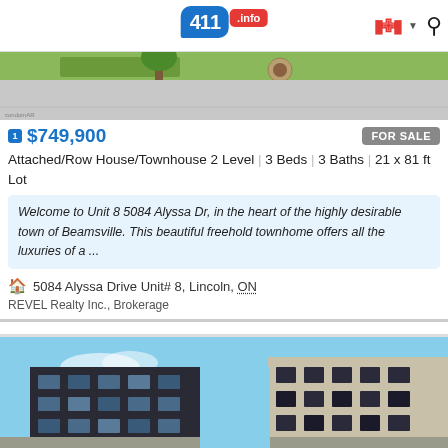411.info
[Figure (photo): Exterior photo of townhouse with driveway and green lawn]
1 $749,900   FOR SALE
Attached/Row House/Townhouse 2 Level | 3 Beds | 3 Baths | 21 x 81 ft Lot
Welcome to Unit 8 5084 Alyssa Dr, in the heart of the highly desirable town of Beamsville. This beautiful freehold townhome offers all the luxuries of a ...
5084 Alyssa Drive Unit# 8, Lincoln, ON
REVEL Realty Inc., Brokerage
[Figure (photo): Exterior photo of modern condominium building with balconies against blue sky]